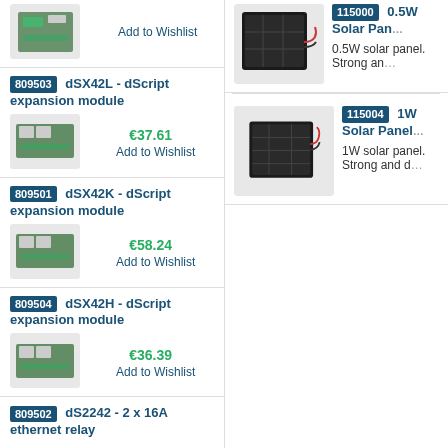Add to Wishlist
809503 dSX42L - dScript expansion module
€37.61
Add to Wishlist
809501 dSX42K - dScript expansion module
€58.24
Add to Wishlist
809504 dSX42H - dScript expansion module
€36.39
Add to Wishlist
809502 dS2242 - 2 x 16A ethernet relay
115000 0.5W Solar Pan
0.5W solar panel. Strong and
115004 1W Solar Panel
1W solar panel. Strong and d